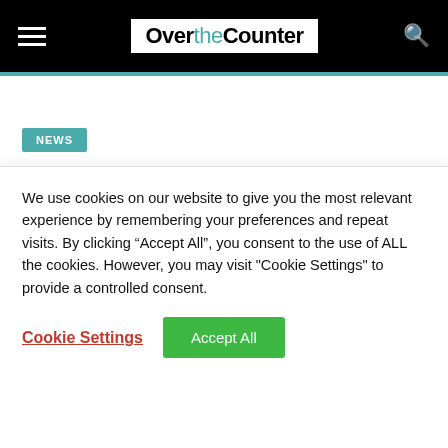OvertheCounter
NEWS
Mole Valley Farmers reports on unprecedented trading conditions
We use cookies on our website to give you the most relevant experience by remembering your preferences and repeat visits. By clicking "Accept All", you consent to the use of ALL the cookies. However, you may visit "Cookie Settings" to provide a controlled consent.
Cookie Settings | Accept All